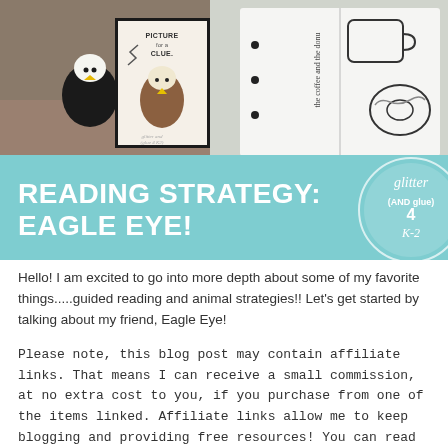[Figure (photo): Banner image showing educational reading strategy materials: left side shows stuffed bald eagle animal next to a framed 'Picture for a Clue' card with eagle illustration and zigzag arrow, watermark 'glitter and glue 4 K-2'. Right side shows a hand holding an open book with coffee and donut illustrations. Below the photo is a teal banner reading 'READING STRATEGY: EAGLE EYE!' with a circular logo overlay showing 'glitter AND glue 4 K-2' in script.]
Hello! I am excited to go into more depth about some of my favorite things.....guided reading and animal strategies!! Let's get started by talking about my friend, Eagle Eye!
Please note, this blog post may contain affiliate links. That means I can receive a small commission, at no extra cost to you, if you purchase from one of the items linked. Affiliate links allow me to keep blogging and providing free resources! You can read more about this at the end of